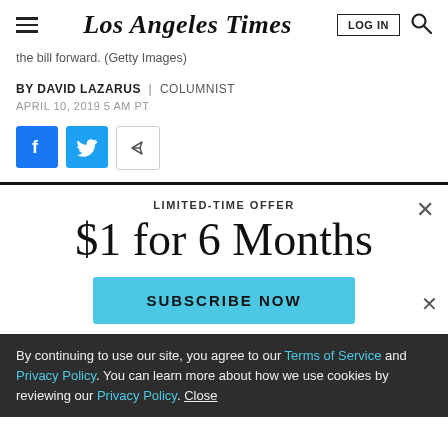Los Angeles Times
the bill forward. (Getty Images)
BY DAVID LAZARUS | COLUMNIST
APRIL 10, 2019 5 AM PT
[Figure (other): Social share buttons: Facebook, Twitter, and share/forward icon]
LIMITED-TIME OFFER
$1 for 6 Months
SUBSCRIBE NOW
By continuing to use our site, you agree to our Terms of Service and Privacy Policy. You can learn more about how we use cookies by reviewing our Privacy Policy. Close